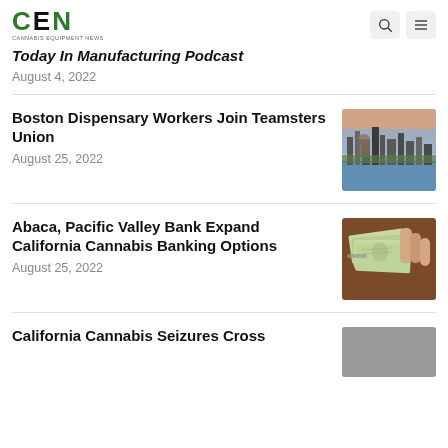CEN - Cannabis Equipment News
Today In Manufacturing Podcast
August 4, 2022
Boston Dispensary Workers Join Teamsters Union
August 25, 2022
[Figure (photo): Aerial view of Boston city skyline at sunset]
Abaca, Pacific Valley Bank Expand California Cannabis Banking Options
August 25, 2022
[Figure (photo): Person holding a fan of US dollar bills, cannabis banking concept]
California Cannabis Seizures Cross